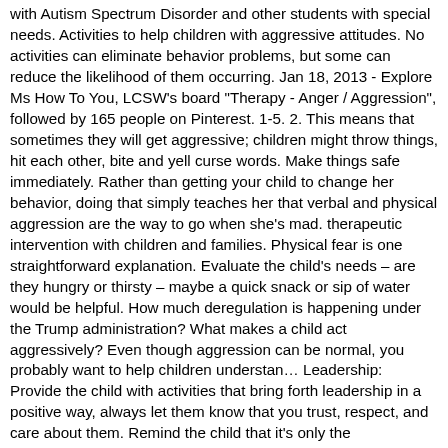with Autism Spectrum Disorder and other students with special needs. Activities to help children with aggressive attitudes. No activities can eliminate behavior problems, but some can reduce the likelihood of them occurring. Jan 18, 2013 - Explore Ms How To You, LCSW's board "Therapy - Anger / Aggression", followed by 165 people on Pinterest. 1-5. 2. This means that sometimes they will get aggressive; children might throw things, hit each other, bite and yell curse words. Make things safe immediately. Rather than getting your child to change her behavior, doing that simply teaches her that verbal and physical aggression are the way to go when she's mad. therapeutic intervention with children and families. Physical fear is one straightforward explanation. Evaluate the child's needs – are they hungry or thirsty – maybe a quick snack or sip of water would be helpful. How much deregulation is happening under the Trump administration? What makes a child act aggressively? Even though aggression can be normal, you probably want to help children understan… Leadership: Provide the child with activities that bring forth leadership in a positive way, always let them know that you trust, respect, and care about them. Remind the child that it's only the inappropriate behaviors (and not … Try to respond immediately when you see your child attire aggression. Action/Approach Direct Message